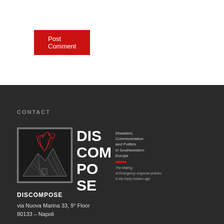Post Comment
CONTACT
[Figure (logo): DISCOMPOSE project logo: square with volcanic mountain illustration (red swirling eruption smoke against dark background), next to bold white text DIS COM PO SE and tagline 'Disasters, Communication and Politics in Southwestern Europe – The Making of Emergency response policies in the Early modern age']
DISCOMPOSE
via Nuova Marina 33, 9° Floor
80133 – Napoli